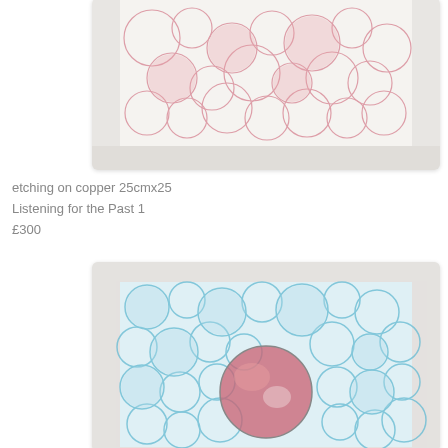[Figure (photo): Partial view of a framed etching artwork showing pink/red organic bubble-like forms on white background, mounted in a light gray mat]
etching on copper 25cmx25
Listening for the Past 1
£300
[Figure (photo): Framed etching artwork showing blue organic bubble/cell-like forms covering the surface with a central prominent pink/red circular form, mounted in a light gray mat]